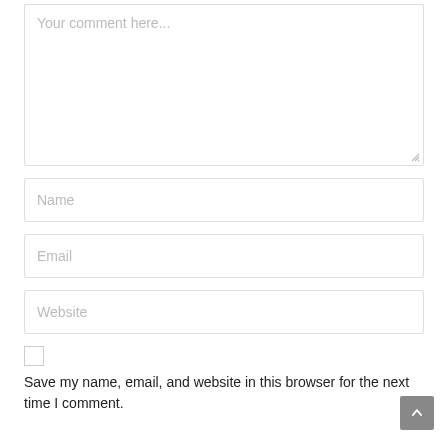[Figure (screenshot): Comment form with textarea placeholder 'Your comment here...', input fields for Name, Email, Website, a checkbox, and label text 'Save my name, email, and website in this browser for the next time I comment.' A scroll-to-top button is visible at the bottom right.]
Your comment here...
Name
Email
Website
Save my name, email, and website in this browser for the next time I comment.